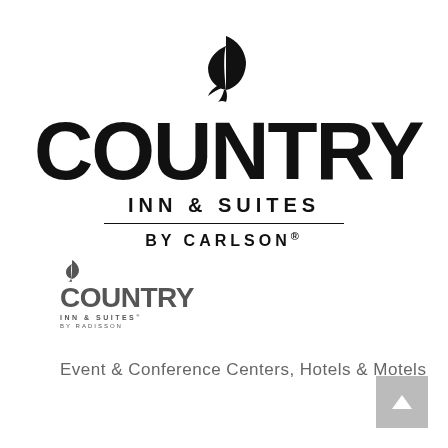[Figure (logo): Country Inn & Suites By Carlson large logo with tulip icon above, large COUNTRY text, INN & SUITES, horizontal divider line, BY CARLSON with registered trademark]
[Figure (logo): Country Inn & Suites by Radisson small logo in gray with tulip icon]
Event & Conference Centers, Hotels & Motels